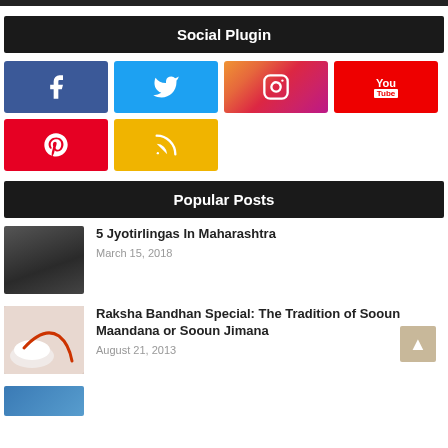Social Plugin
[Figure (infographic): Social media buttons: Facebook, Twitter, Instagram, YouTube, Pinterest, RSS]
Popular Posts
[Figure (photo): Temple or shrine image - dark silhouette]
5 Jyotirlingas In Maharashtra
March 15, 2018
[Figure (photo): Raksha Bandhan - red thread on white background]
Raksha Bandhan Special: The Tradition of Sooun Maandana or Sooun Jimana
August 21, 2013
[Figure (photo): Partially visible photo at bottom]